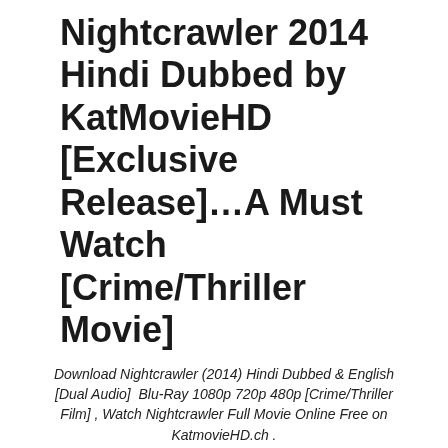Nightcrawler 2014 Hindi Dubbed by KatMovieHD [Exclusive Release]…A Must Watch [Crime/Thriller Movie]
Download Nightcrawler (2014) Hindi Dubbed & English [Dual Audio] Blu-Ray 1080p 720p 480p [Crime/Thriller Film] , Watch Nightcrawler Full Movie Online Free on KatmovieHD.ch .
" KatMovieHD Exclusive Release " [ Nightcrawler (Movie) Hindi Dubbed By KatMovieHD ]
[Figure (logo): KatMovieHD Exclusive logo on black background]